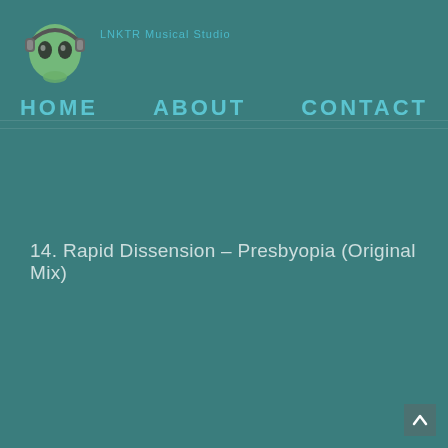[Figure (logo): Alien face with headphones logo icon, green alien head with black headphones]
LNKTR Musical Studio
HOME   ABOUT   CONTACT
14. Rapid Dissension – Presbyopia (Original Mix)